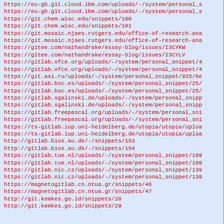https://eu-gb.git.cloud.ibm.com/uploads/-/system/personal_s
https://eu-gb.git.cloud.ibm.com/uploads/-/system/personal_s
https://git.chem.wisc.edu/snippets/100
https://git.chem.wisc.edu/snippets/101
https://git.mosaic.njaes.rutgers.edu/office-of-research-ana
https://git.mosaic.njaes.rutgers.edu/office-of-research-ana
https://gitee.com/nathandrake/essay-blog/issues/I3CYKW
https://gitee.com/nathandrake/essay-blog/issues/I3CYLV
https://gitlab.xfce.org/uploads/-/system/personal_snippet/4
https://gitlab.xfce.org/uploads/-/system/personal_snippet/4
https://git.asi.ru/uploads/-/system/personal_snippet/925/6e
https://gitlab.bsc.es/uploads/-/system/personal_snippet/25/
https://gitlab.bsc.es/uploads/-/system/personal_snippet/25/
https://gitlab.sgalinski.de/uploads/-/system/personal_snipp
https://gitlab.sgalinski.de/uploads/-/system/personal_snipp
https://gitlab.freepascal.org/uploads/-/system/personal_sni
https://gitlab.freepascal.org/uploads/-/system/personal_sni
https://ts-gitlab.iup.uni-heidelberg.de/utopia/utopia/uploa
https://ts-gitlab.iup.uni-heidelberg.de/utopia/utopia/uploa
http://gitlab.bios.au.dk/-/snippets/153
http://gitlab.bios.au.dk/-/snippets/154
https://gitlab.tue.nl/uploads/-/system/personal_snippet/109
https://gitlab.tue.nl/uploads/-/system/personal_snippet/109
https://gitlab.nic.cz/uploads/-/system/personal_snippet/139
https://gitlab.nic.cz/uploads/-/system/personal_snippet/139
https://magnetogitlab.cn.ntua.gr/snippets/46
https://magnetogitlab.cn.ntua.gr/snippets/47
http://git.kemkes.go.id/snippets/28
http://git.kemkes.go.id/snippets/29